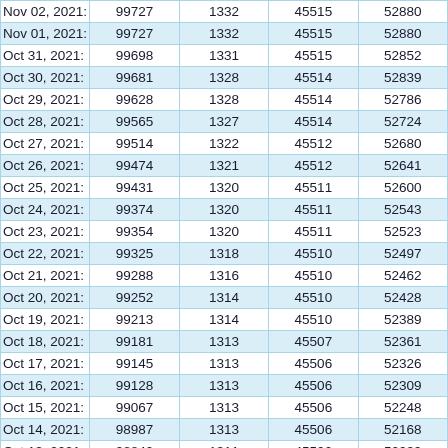| Nov 02, 2021: | 99727 | 1332 | 45515 | 52880 |
| Nov 01, 2021: | 99727 | 1332 | 45515 | 52880 |
| Oct 31, 2021: | 99698 | 1331 | 45515 | 52852 |
| Oct 30, 2021: | 99681 | 1328 | 45514 | 52839 |
| Oct 29, 2021: | 99628 | 1328 | 45514 | 52786 |
| Oct 28, 2021: | 99565 | 1327 | 45514 | 52724 |
| Oct 27, 2021: | 99514 | 1322 | 45512 | 52680 |
| Oct 26, 2021: | 99474 | 1321 | 45512 | 52641 |
| Oct 25, 2021: | 99431 | 1320 | 45511 | 52600 |
| Oct 24, 2021: | 99374 | 1320 | 45511 | 52543 |
| Oct 23, 2021: | 99354 | 1320 | 45511 | 52523 |
| Oct 22, 2021: | 99325 | 1318 | 45510 | 52497 |
| Oct 21, 2021: | 99288 | 1316 | 45510 | 52462 |
| Oct 20, 2021: | 99252 | 1314 | 45510 | 52428 |
| Oct 19, 2021: | 99213 | 1314 | 45510 | 52389 |
| Oct 18, 2021: | 99181 | 1313 | 45507 | 52361 |
| Oct 17, 2021: | 99145 | 1313 | 45506 | 52326 |
| Oct 16, 2021: | 99128 | 1313 | 45506 | 52309 |
| Oct 15, 2021: | 99067 | 1313 | 45506 | 52248 |
| Oct 14, 2021: | 98987 | 1313 | 45506 | 52168 |
| Oct 13, 2021: | 98840 | 1311 | 45500 | 52029 |
| Oct 12, 2021: | 98840 | 1311 | 45500 | 52029 |
| Oct 11, 2021: | 98745 | 1308 | 45499 | 51938 |
| Oct 10, 2021: | 98697 | 1308 | 45498 | 51891 |